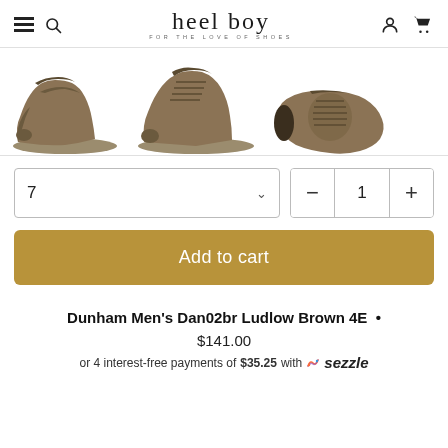heel boy FOR THE LOVE OF SHOES
[Figure (photo): Three views of a Dunham men's brown hiking boot: left side view, right side view, and top-down view]
7 [size selector dropdown]
− 1 + [quantity selector]
Add to cart
Dunham Men's Dan02br Ludlow Brown 4E •
$141.00
or 4 interest-free payments of $35.25 with Sezzle